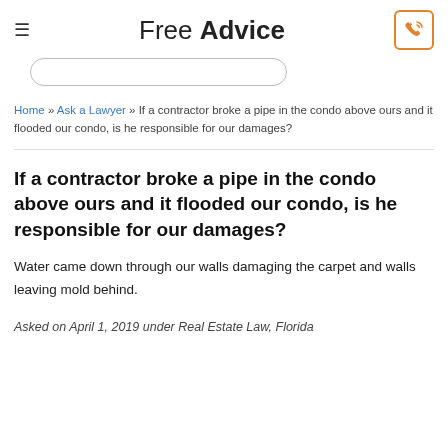Free Advice
Home » Ask a Lawyer » If a contractor broke a pipe in the condo above ours and it flooded our condo, is he responsible for our damages?
If a contractor broke a pipe in the condo above ours and it flooded our condo, is he responsible for our damages?
Water came down through our walls damaging the carpet and walls leaving mold behind.
Asked on April 1, 2019 under Real Estate Law, Florida